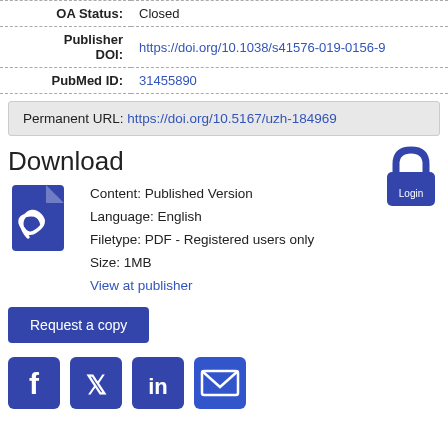| OA Status: | Closed |
| Publisher DOI: | https://doi.org/10.1038/s41576-019-0156-9 |
| PubMed ID: | 31455890 |
Permanent URL: https://doi.org/10.5167/uzh-184969
Download
[Figure (illustration): Lock/Login icon in blue, indicating restricted access.]
Content: Published Version
Language: English
Filetype: PDF - Registered users only
Size: 1MB
View at publisher
Request a copy
[Figure (infographic): Social sharing icons: Facebook, Twitter, LinkedIn, Email]